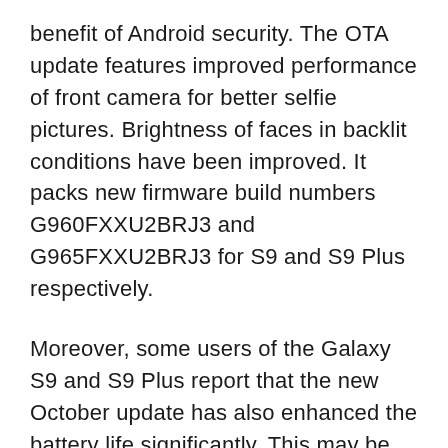benefit of Android security. The OTA update features improved performance of front camera for better selfie pictures. Brightness of faces in backlit conditions have been improved. It packs new firmware build numbers G960FXXU2BRJ3 and G965FXXU2BRJ3 for S9 and S9 Plus respectively.
Moreover, some users of the Galaxy S9 and S9 Plus report that the new October update has also enhanced the battery life significantly. This may be due to the upgrade in kernel version. So if you can, you must definitely update to the new October OTA update on all Samsung devices.